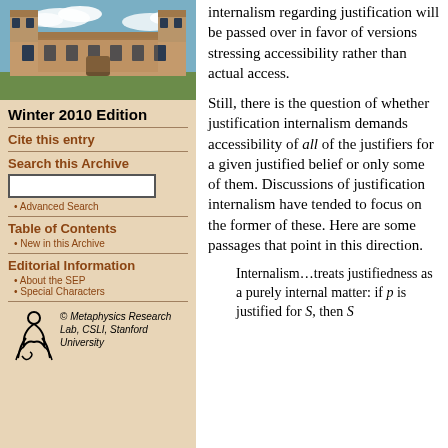[Figure (photo): Aerial or ground-level photograph of a historic stone university building with Gothic architecture under a blue sky with clouds]
Winter 2010 Edition
Cite this entry
Search this Archive
Advanced Search
Table of Contents
New in this Archive
Editorial Information
About the SEP
Special Characters
[Figure (logo): Metaphysics Research Lab, CSLI, Stanford University logo with stylized figure]
internalism regarding justification will be passed over in favor of versions stressing accessibility rather than actual access.
Still, there is the question of whether justification internalism demands accessibility of all of the justifiers for a given justified belief or only some of them. Discussions of justification internalism have tended to focus on the former of these. Here are some passages that point in this direction.
Internalism…treats justifiedness as a purely internal matter: if p is justified for S, then S